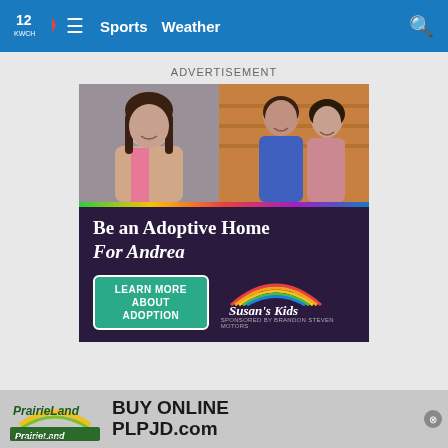12 KWCH  ≡  Sports  Weather  🔍
ADVERTISEMENT
[Figure (infographic): Adoption advertisement for Susan's Kids. Top half shows two photos: left photo of a young girl smiling, right photo of a woman and teen girl together. Below a multicolor bar is a dark purple section with text 'Be an Adoptive Home For Andrea', a teal 'LEARN MORE ABOUT ADOPTION' button, and the Susan's Kids logo with rainbow arc. Sponsored by Brandon Steven Motors.]
[Figure (infographic): PrairieLand Partners advertisement. Green and yellow logo on left. Text reads: BUY ONLINE PLPJD.com]